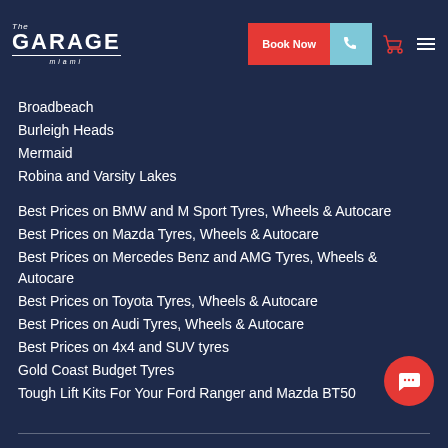The Garage Miami — Book Now
Broadbeach
Burleigh Heads
Mermaid
Robina and Varsity Lakes
Best Prices on BMW and M Sport Tyres, Wheels & Autocare
Best Prices on Mazda Tyres, Wheels & Autocare
Best Prices on Mercedes Benz and AMG Tyres, Wheels & Autocare
Best Prices on Toyota Tyres, Wheels & Autocare
Best Prices on Audi Tyres, Wheels & Autocare
Best Prices on 4x4 and SUV tyres
Gold Coast Budget Tyres
Tough Lift Kits For Your Ford Ranger and Mazda BT50